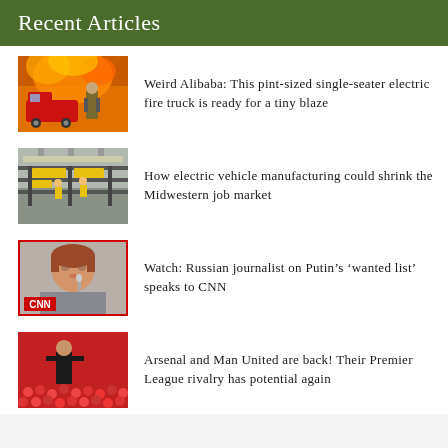Recent Articles
Weird Alibaba: This pint-sized single-seater electric fire truck is ready for a tiny blaze
How electric vehicle manufacturing could shrink the Midwestern job market
Watch: Russian journalist on Putin’s ‘wanted list’ speaks to CNN
Arsenal and Man United are back! Their Premier League rivalry has potential again